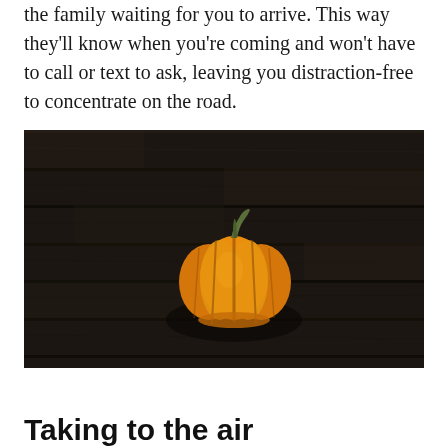the family waiting for you to arrive. This way they'll know when you're coming and won't have to call or text to ask, leaving you distraction-free to concentrate on the road.
[Figure (photo): A small orange pumpkin placed on dark rustic wooden planks, viewed from above. The wood has a dark, nearly black stained finish with visible grain. The pumpkin is centered slightly right and below middle of the image, with a short curved stem.]
Taking to the air